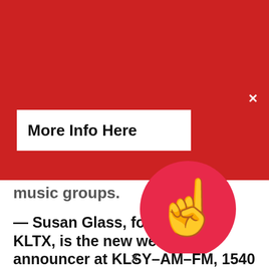All RADIO & TV industry folks invited to attend. Informal get-together. No reservations. West Seattle Golf Course at 4470 35th Ave SW, Seattle. Saturday, August 27th @ 3pm.        See ya there!!!
[Figure (other): Close X button (white X) in red banner]
[Figure (other): White button with bold text 'More Info Here']
music groups.
— Susan Glass, formerly with KLTX, is the new weekend announcer at KLSY-AM-FM, 1540 and 92.5
[Figure (other): Blue square button with white plus sign]
[Figure (other): Red circle with white pointing hand cursor icon]
x